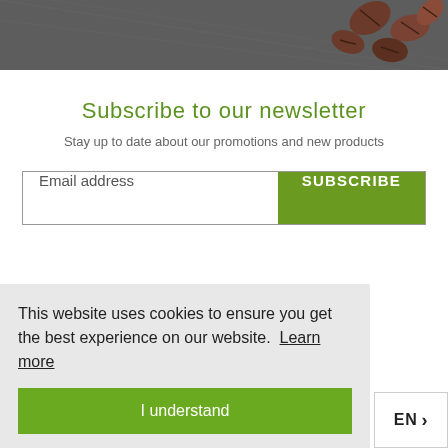[Figure (photo): Top portion of an image showing coffee beans on a dark textured background]
Subscribe to our newsletter
Stay up to date about our promotions and new products
Email address [input field] SUBSCRIBE [button]
This website uses cookies to ensure you get the best experience on our website. Learn more
I understand
EN >